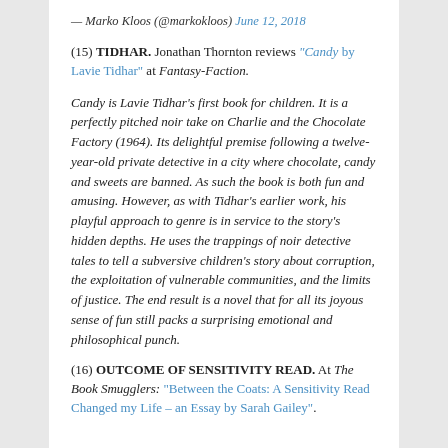— Marko Kloos (@markokloos) June 12, 2018
(15) TIDHAR. Jonathan Thornton reviews "Candy by Lavie Tidhar" at Fantasy-Faction.
Candy is Lavie Tidhar's first book for children. It is a perfectly pitched noir take on Charlie and the Chocolate Factory (1964). Its delightful premise following a twelve-year-old private detective in a city where chocolate, candy and sweets are banned. As such the book is both fun and amusing. However, as with Tidhar's earlier work, his playful approach to genre is in service to the story's hidden depths. He uses the trappings of noir detective tales to tell a subversive children's story about corruption, the exploitation of vulnerable communities, and the limits of justice. The end result is a novel that for all its joyous sense of fun still packs a surprising emotional and philosophical punch.
(16) OUTCOME OF SENSITIVITY READ. At The Book Smugglers: "Between the Coats: A Sensitivity Read Changed my Life – an Essay by Sarah Gailey".